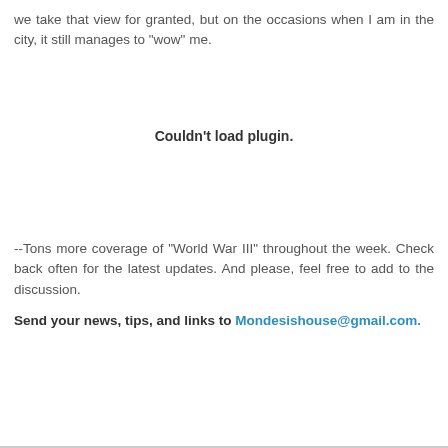we take that view for granted, but on the occasions when I am in the city, it still manages to "wow" me.
[Figure (other): Couldn't load plugin. placeholder area]
--Tons more coverage of "World War III" throughout the week. Check back often for the latest updates. And please, feel free to add to the discussion.
Send your news, tips, and links to Mondesishouse@gmail.com.